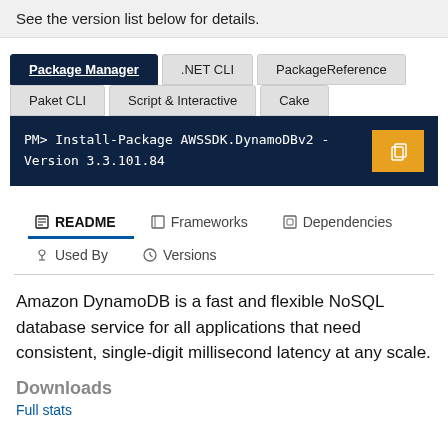See the version list below for details.
Package Manager | .NET CLI | PackageReference | Paket CLI | Script & Interactive | Cake
PM> Install-Package AWSSDK.DynamoDBv2 -Version 3.3.101.84
README | Frameworks | Dependencies | Used By | Versions
Amazon DynamoDB is a fast and flexible NoSQL database service for all applications that need consistent, single-digit millisecond latency at any scale.
Downloads
Full stats